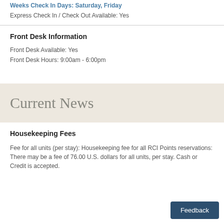Weeks Check In Days: Saturday, Friday
Express Check In / Check Out Available: Yes
Front Desk Information
Front Desk Available: Yes
Front Desk Hours: 9:00am - 6:00pm
Current News
Housekeeping Fees
Fee for all units (per stay): Housekeeping fee for all RCI Points reservations: There may be a fee of 76.00 U.S. dollars for all units, per stay. Cash or Credit is accepted.
Feedback